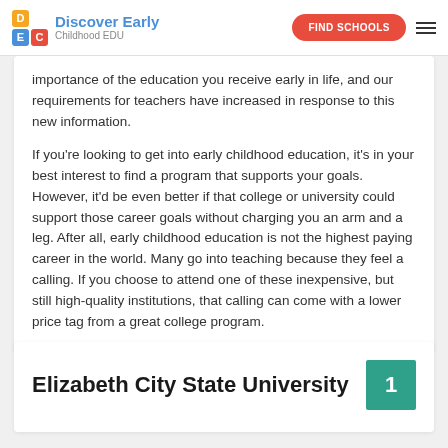Discover Early Childhood EDU | FIND SCHOOLS
importance of the education you receive early in life, and our requirements for teachers have increased in response to this new information.
If you're looking to get into early childhood education, it's in your best interest to find a program that supports your goals. However, it'd be even better if that college or university could support those career goals without charging you an arm and a leg. After all, early childhood education is not the highest paying career in the world. Many go into teaching because they feel a calling. If you choose to attend one of these inexpensive, but still high-quality institutions, that calling can come with a lower price tag from a great college program.
Elizabeth City State University